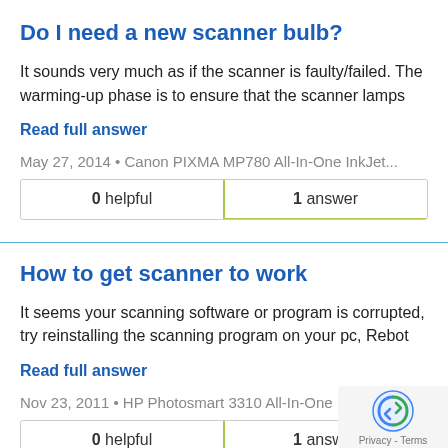Do I need a new scanner bulb?
It sounds very much as if the scanner is faulty/failed. The warming-up phase is to ensure that the scanner lamps
Read full answer
May 27, 2014 • Canon PIXMA MP780 All-In-One InkJet...
| 0 helpful | 1 answer |
| --- | --- |
How to get scanner to work
It seems your scanning software or program is corrupted, try reinstalling the scanning program on your pc, Rebot
Read full answer
Nov 23, 2011 • HP Photosmart 3310 All-In-One InkJet...
| 0 helpful | 1 answer |
| --- | --- |